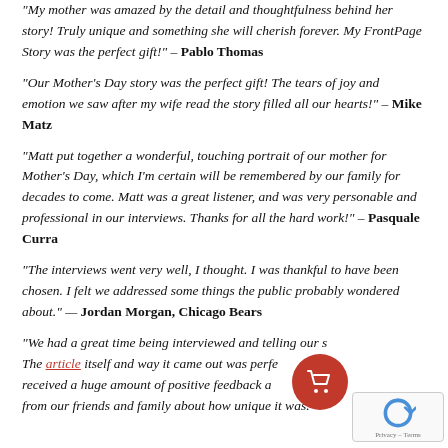“My mother was amazed by the detail and thoughtfulness behind her story! Truly unique and something she will cherish forever. My FrontPage Story was the perfect gift!” – Pablo Thomas
“Our Mother’s Day story was the perfect gift! The tears of joy and emotion we saw after my wife read the story filled all our hearts!” – Mike Matz
“Matt put together a wonderful, touching portrait of our mother for Mother’s Day, which I’m certain will be remembered by our family for decades to come. Matt was a great listener, and was very personable and professional in our interviews. Thanks for all the hard work!” – Pasquale Curra
“The interviews went very well, I thought. I was thankful to have been chosen. I felt we addressed some things the public probably wondered about.” — Jordan Morgan, Chicago Bears
“We had a great time being interviewed and telling our s… The article itself and way it came out was perfe… received a huge amount of positive feedback a… from our friends and family about how unique it was.